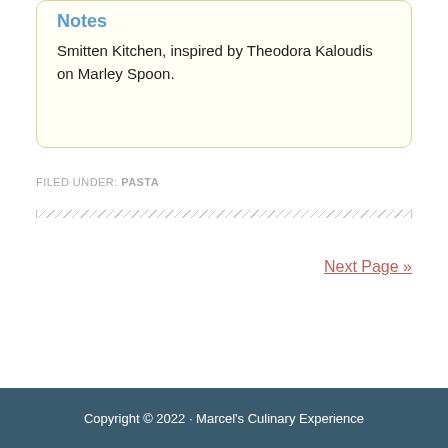Notes
Smitten Kitchen, inspired by Theodora Kaloudis on Marley Spoon.
FILED UNDER: PASTA
Next Page »
Copyright © 2022 · Marcel's Culinary Experience